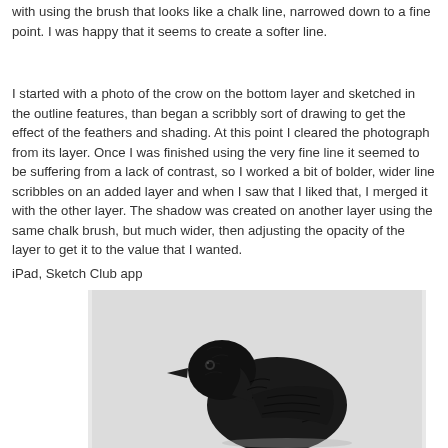with using the brush that looks like a chalk line, narrowed down to a fine point. I was happy that it seems to create a softer line.
I started with a photo of the crow on the bottom layer and sketched in the outline features, than began a scribbly sort of drawing to get the effect of the feathers and shading. At this point I cleared the photograph from its layer. Once I was finished using the very fine line it seemed to be suffering from a lack of contrast, so I worked a bit of bolder, wider line scribbles on an added layer and when I saw that I liked that, I merged it with the other layer. The shadow was created on another layer using the same chalk brush, but much wider, then adjusting the opacity of the layer to get it to the value that I wanted.
iPad, Sketch Club app
[Figure (illustration): Black and white digital sketch of a crow, showing the bird from approximately the chest up with detailed feather textures rendered in scribbly chalk-like strokes on a light gray background]